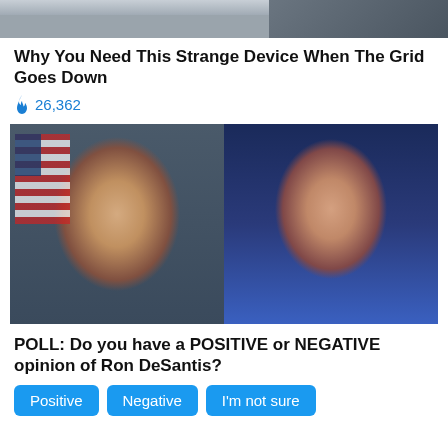[Figure (photo): Top strip of an outdoor scene showing pavement and a vehicle, cropped]
Why You Need This Strange Device When The Grid Goes Down
🔥 26,362
[Figure (photo): Two side-by-side portrait photos: left shows a smiling man in a dark suit with yellow tie in front of an American flag (Ron DeSantis official portrait); right shows a woman with brown hair in a red jacket speaking at a podium (Nancy Pelosi)]
POLL: Do you have a POSITIVE or NEGATIVE opinion of Ron DeSantis?
Positive
Negative
I'm not sure